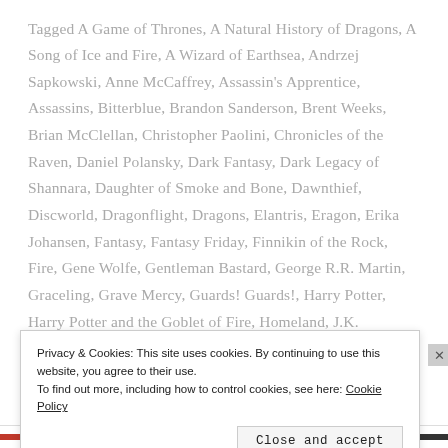Tagged A Game of Thrones, A Natural History of Dragons, A Song of Ice and Fire, A Wizard of Earthsea, Andrzej Sapkowski, Anne McCaffrey, Assassin's Apprentice, Assassins, Bitterblue, Brandon Sanderson, Brent Weeks, Brian McClellan, Christopher Paolini, Chronicles of the Raven, Daniel Polansky, Dark Fantasy, Dark Legacy of Shannara, Daughter of Smoke and Bone, Dawnthief, Discworld, Dragonflight, Dragons, Elantris, Eragon, Erika Johansen, Fantasy, Fantasy Friday, Finnikin of the Rock, Fire, Gene Wolfe, Gentleman Bastard, George R.R. Martin, Graceling, Grave Mercy, Guards! Guards!, Harry Potter, Harry Potter and the Goblet of Fire, Homeland, J.K. Rowling, J.R.R. Tolkien, James Barclay, Joe Abercrombie, Katherine
Privacy & Cookies: This site uses cookies. By continuing to use this website, you agree to their use. To find out more, including how to control cookies, see here: Cookie Policy
Close and accept